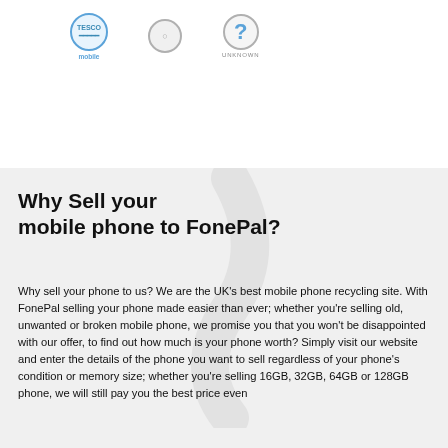[Figure (logo): Tesco Mobile logo circle and Unknown question mark circle with labels]
Why Sell your mobile phone to FonePal?
Why sell your phone to us? We are the UK's best mobile phone recycling site. With FonePal selling your phone made easier than ever; whether you're selling old, unwanted or broken mobile phone, we promise you that you won't be disappointed with our offer, to find out how much is your phone worth? Simply visit our website and enter the details of the phone you want to sell regardless of your phone's condition or memory size; whether you're selling 16GB, 32GB, 64GB or 128GB phone, we will still pay you the best price even